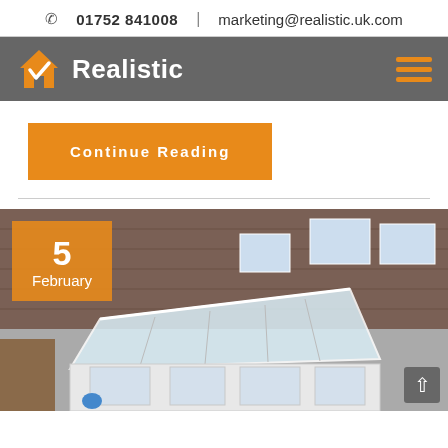📞 01752 841008  |  marketing@realistic.uk.com
[Figure (logo): Realistic company logo with orange house checkmark icon and white bold 'Realistic' text on dark grey background, with orange hamburger menu icon on the right]
Continue Reading
[Figure (photo): Aerial/elevated view of a white conservatory with glass roof attached to a brick house, with garden area visible. Date badge shows '5 February' in orange overlay on top left.]